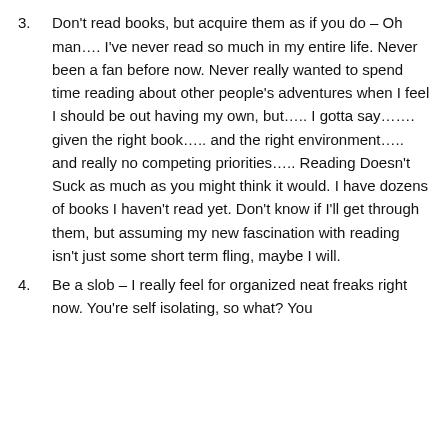elevator buttons???  I'm doomed!
3. Don't read books, but acquire them as if you do – Oh man…. I've never read so much in my entire life.  Never been a fan before now.  Never really wanted to spend time reading about other people's adventures when I feel I should be out having my own, but….. I gotta say……. given the right book….. and the right environment….. and really no competing priorities….. Reading Doesn't Suck as much as you might think it would.  I have dozens of books I haven't read yet.  Don't know if I'll get through them, but assuming my new fascination with reading isn't just some short term fling, maybe I will.
4. Be a slob – I really feel for organized neat freaks right now.  You're self isolating, so what?  You